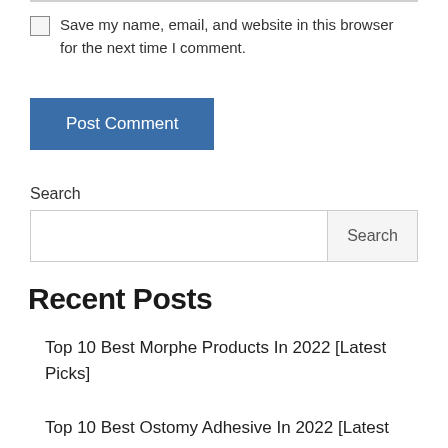Save my name, email, and website in this browser for the next time I comment.
Post Comment
Search
Recent Posts
Top 10 Best Morphe Products In 2022 [Latest Picks]
Top 10 Best Ostomy Adhesive In 2022 [Latest